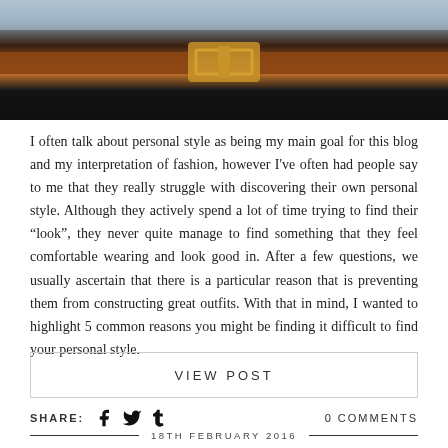[Figure (photo): Cropped photo showing a person's torso wearing a light blue shirt, brown leather belt with gold buckle, and dark trousers, shot outdoors]
I often talk about personal style as being my main goal for this blog and my interpretation of fashion, however I've often had people say to me that they really struggle with discovering their own personal style. Although they actively spend a lot of time trying to find their "look", they never quite manage to find something that they feel comfortable wearing and look good in. After a few questions, we usually ascertain that there is a particular reason that is preventing them from constructing great outfits. With that in mind, I wanted to highlight 5 common reasons you might be finding it difficult to find your personal style.
VIEW POST
SHARE:  0 COMMENTS
18TH FEBRUARY 2016
THE BACHELOR'S BOX REVIEW &